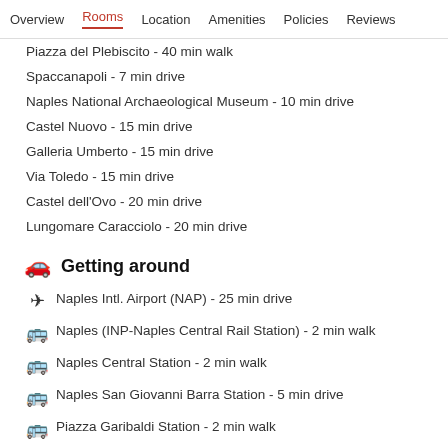Overview | Rooms | Location | Amenities | Policies | Reviews
Piazza del Plebiscito - 40 min walk
Spaccanapoli - 7 min drive
Naples National Archaeological Museum - 10 min drive
Castel Nuovo - 15 min drive
Galleria Umberto - 15 min drive
Via Toledo - 15 min drive
Castel dell'Ovo - 20 min drive
Lungomare Caracciolo - 20 min drive
Getting around
Naples Intl. Airport (NAP) - 25 min drive
Naples (INP-Naples Central Rail Station) - 2 min walk
Naples Central Station - 2 min walk
Naples San Giovanni Barra Station - 5 min drive
Piazza Garibaldi Station - 2 min walk